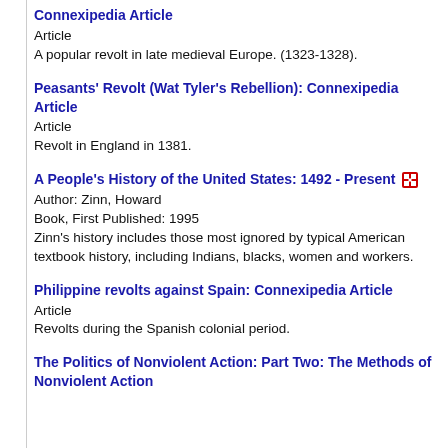Connexipedia Article
Article
A popular revolt in late medieval Europe. (1323-1328).
Peasants' Revolt (Wat Tyler's Rebellion): Connexipedia Article
Article
Revolt in England in 1381.
A People's History of the United States: 1492 - Present
Author: Zinn, Howard
Book, First Published: 1995
Zinn's history includes those most ignored by typical American textbook history, including Indians, blacks, women and workers.
Philippine revolts against Spain: Connexipedia Article
Article
Revolts during the Spanish colonial period.
The Politics of Nonviolent Action: Part Two: The Methods of Nonviolent Action